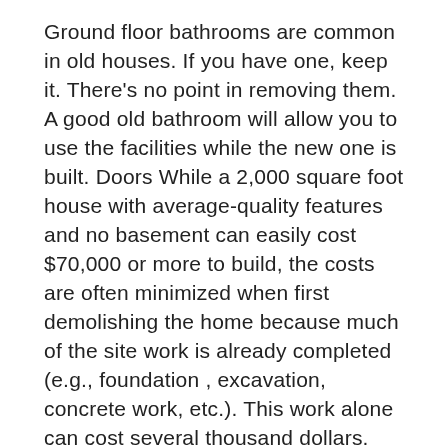Ground floor bathrooms are common in old houses. If you have one, keep it. There’s no point in removing them. A good old bathroom will allow you to use the facilities while the new one is built. Doors While a 2,000 square foot house with average-quality features and no basement can easily cost $70,000 or more to build, the costs are often minimized when first demolishing the home because much of the site work is already completed (e.g., foundation , excavation, concrete work, etc.). This work alone can cost several thousand dollars. Exterior Lead Paint Removal – Lead paint was used on exterior surfaces because it stood up to weather and sunlight. Prevent lead exposure by following these simple work practices. In contrast, remodeling a home simply means redoing certain aspects. Usually, when people remodel a property, they leave the vast majority of the layout in place. In this case, they may redo many of